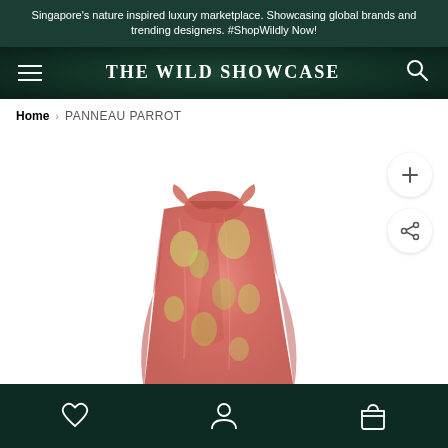Singapore's nature inspired luxury marketplace. Showcasing global brands and trending designers. #ShopWildly Now!
THE WILD SHOWCASE
Home > PANNEAU PARROT
[Figure (photo): A coral/pink floral printed pareo sarong skirt with a tie/knot at the waist, displayed on a white background. The fabric has a floral tropical pattern with greens and yellows on a coral-pink base.]
Bottom navigation bar with wishlist (heart), account (person), and cart (bag) icons